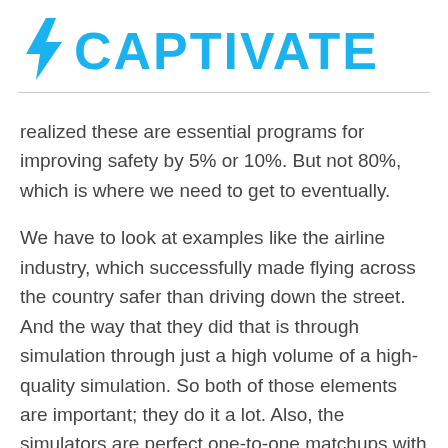[Figure (logo): Captivate logo with blue lightning bolt icon and bold blue uppercase text CAPTIVATE]
realized these are essential programs for improving safety by 5% or 10%. But not 80%, which is where we need to get to eventually.
We have to look at examples like the airline industry, which successfully made flying across the country safer than driving down the street. And the way that they did that is through simulation through just a high volume of a high-quality simulation. So both of those elements are important; they do it a lot. Also, the simulators are perfect one-to-one matchups with the environment in